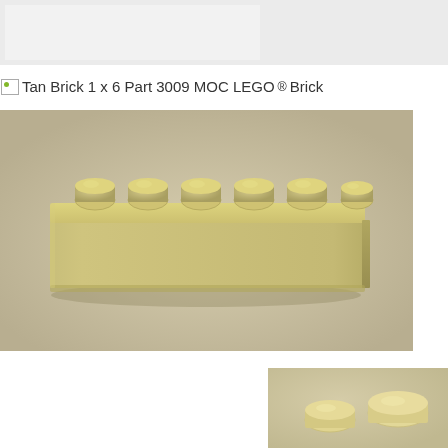Tan Brick 1 x 6 Part 3009 MOC LEGO® Brick
[Figure (photo): Photograph of a tan LEGO brick 1x6 (Part 3009) with six studs on top, shot on a light beige/cream background. The brick is elongated horizontally and has a slight shadow beneath it.]
[Figure (photo): Partial view of another tan/cream colored LEGO brick piece visible at the bottom-right corner of the page.]